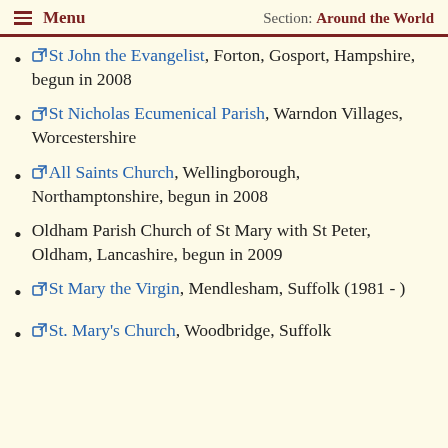Menu  Section: Around the World
St John the Evangelist, Forton, Gosport, Hampshire, begun in 2008
St Nicholas Ecumenical Parish, Warndon Villages, Worcestershire
All Saints Church, Wellingborough, Northamptonshire, begun in 2008
Oldham Parish Church of St Mary with St Peter, Oldham, Lancashire, begun in 2009
St Mary the Virgin, Mendlesham, Suffolk (1981 - )
St. Mary's Church, Woodbridge, Suffolk